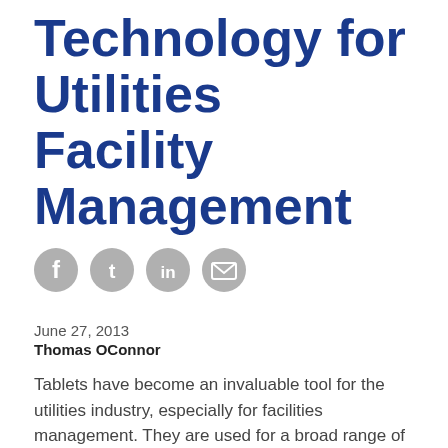Technology for Utilities Facility Management
[Figure (infographic): Row of four social sharing icon circles (Facebook, Twitter, LinkedIn, Email) in gray]
June 27, 2013
Thomas OConnor
Tablets have become an invaluable tool for the utilities industry, especially for facilities management. They are used for a broad range of functions that include facilitating work orders, managing plant surveillance, controlling digital signage content, and allowing real-time communication with crews in the field. Tablets have the ability to become a single unified tool to revolutionize how work is completed, increase